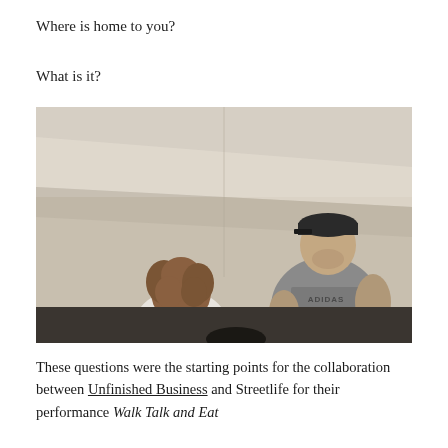Where is home to you?
What is it?
[Figure (photo): Two people in a room with plain beige/tan walls. On the right stands a larger man wearing a black cap and a grey Adidas t-shirt, looking toward the camera. On the left is a person with curly brown hair, facing away, wearing a white top with a teal strap visible.]
These questions were the starting points for the collaboration between Unfinished Business and Streetlife for their performance Walk Talk and Eat